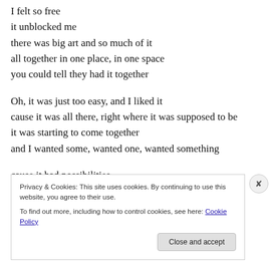I felt so free
it unblocked me
there was big art and so much of it
all together in one place, in one space
you could tell they had it together
Oh, it was just too easy, and I liked it
cause it was all there, right where it was supposed to be
it was starting to come together
and I wanted some, wanted one, wanted something
cause it had possibilities
Privacy & Cookies: This site uses cookies. By continuing to use this website, you agree to their use.
To find out more, including how to control cookies, see here: Cookie Policy
Close and accept